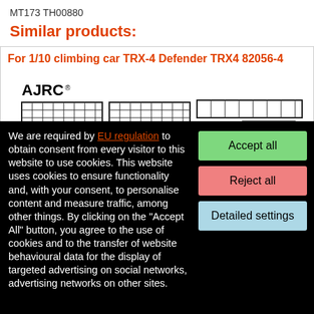MT173 TH00880
Similar products:
For 1/10 climbing car TRX-4 Defender TRX4 82056-4
[Figure (photo): Product parts illustration showing AJRC branded metal frame panels and components for 1/10 climbing car TRX-4 Defender TRX4 82056-4]
We are required by EU regulation to obtain consent from every visitor to this website to use cookies. This website uses cookies to ensure functionality and, with your consent, to personalise content and measure traffic, among other things. By clicking on the "Accept All" button, you agree to the use of cookies and to the transfer of website behavioural data for the display of targeted advertising on social networks, advertising networks on other sites.